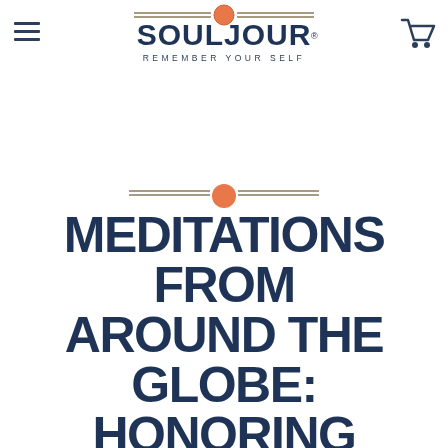[Figure (logo): Souljour logo with orange orb, double horizontal lines, bold text SOULJOUR with registered trademark, tagline REMEMBER YOUR SELF]
[Figure (illustration): Hamburger menu icon (three horizontal lines) on top left and shopping cart icon on top right]
[Figure (illustration): Decorative ornament: two horizontal double lines with orange circle in center]
MEDITATIONS FROM AROUND THE GLOBE: HONORING SOLSTICE & INTERNATIONAL YOGA DAY